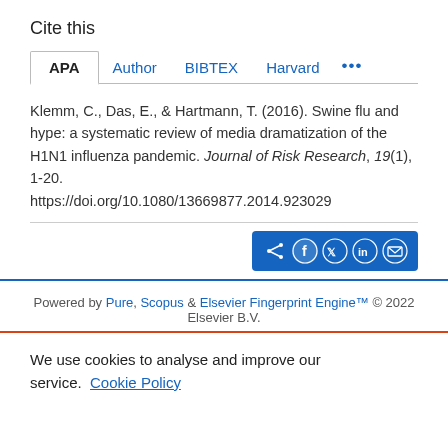Cite this
APA   Author   BIBTEX   Harvard ...
Klemm, C., Das, E., & Hartmann, T. (2016). Swine flu and hype: a systematic review of media dramatization of the H1N1 influenza pandemic. Journal of Risk Research, 19(1), 1-20. https://doi.org/10.1080/13669877.2014.923029
[Figure (other): Share button bar with social media icons: share, Facebook, Twitter, LinkedIn, email]
Powered by Pure, Scopus & Elsevier Fingerprint Engine™ © 2022 Elsevier B.V.
We use cookies to analyse and improve our service. Cookie Policy